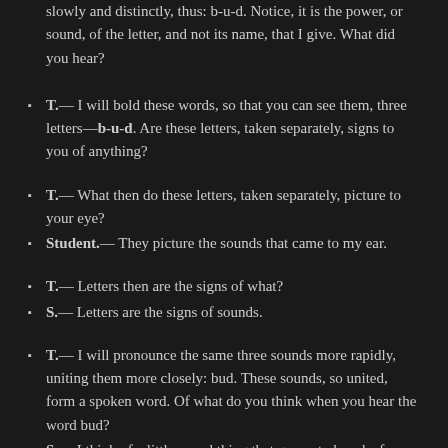slowly and distinctly, thus: b-u-d. Notice, it is the power, or sound, of the letter, and not its name, that I give. What did you hear?
T.— I will bold these words, so that you can see them, three letters—b-u-d. Are these letters, taken separately, signs to you of anything?
T.— What then do these letters, taken separately, picture to your eye?
Student.— They picture the sounds that came to my ear.
T.— Letters then are the signs of what?
S.— Letters are the signs of sounds.
T.— I will pronounce the same three sounds more rapidly, uniting them more closely: bud. These sounds, so united, form a spoken word. Of what do you think when you hear the word bud?
S.— I think of a little round thing that grows to be a leafy branch or a flower.